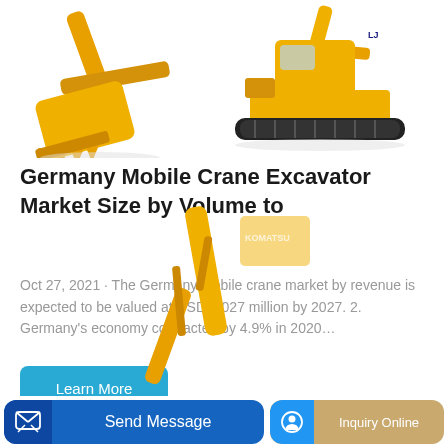[Figure (photo): Top portion of page showing yellow excavator bucket (left) and yellow excavator on tracks (right) on white background]
Germany Mobile Crane Excavator Market Size by Volume to
Oct 27, 2021 · The Germany mobile crane market by revenue is expected to be valued at USD 2,027 million by 2027. 2. Germany's economy contracted by 4.9% in 2020…
[Figure (illustration): Yellow excavator arm/boom partial image at bottom center of page]
Send Message | Inquiry Online